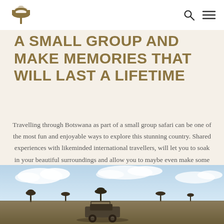[Logo] [Search icon] [Menu icon]
A SMALL GROUP AND MAKE MEMORIES THAT WILL LAST A LIFETIME
Travelling through Botswana as part of a small group safari can be one of the most fun and enjoyable ways to explore this stunning country. Shared experiences with likeminded international travellers, will let you to soak in your beautiful surroundings and allow you to maybe even make some new friends along the way.
[Figure (photo): Landscape photo showing a safari vehicle on open plains under a wide sky with clouds, likely in Botswana.]